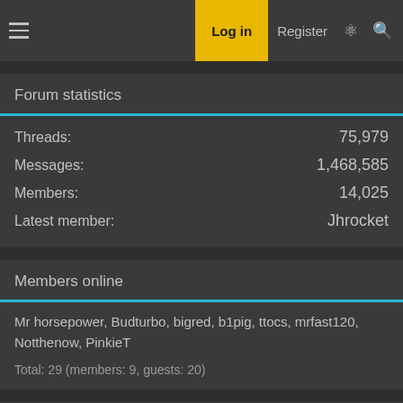Log in  Register
Forum statistics
|  |  |
| --- | --- |
| Threads: | 75,979 |
| Messages: | 1,468,585 |
| Members: | 14,025 |
| Latest member: | Jhrocket |
Members online
Mr horsepower, Budturbo, bigred, b1pig, ttocs, mrfast120, Notthenow, PinkieT
Total: 29 (members: 9, guests: 20)
< 96-04 - 2V Specific